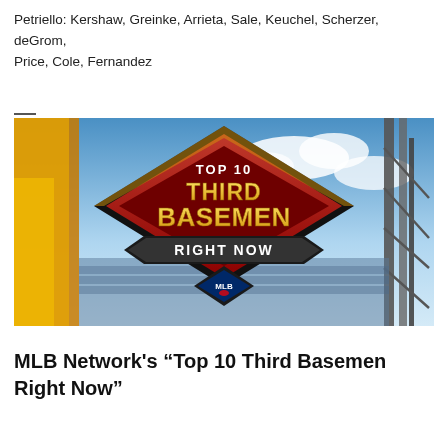Petriello: Kershaw, Greinke, Arrieta, Sale, Keuchel, Scherzer, deGrom, Price, Cole, Fernandez
[Figure (photo): MLB Network graphic showing 'Top 10 Third Basemen Right Now' logo on a stadium billboard, with a baseball diamond-shaped red and gold emblem against a sky background with stadium structures visible.]
MLB Network's “Top 10 Third Basemen Right Now”